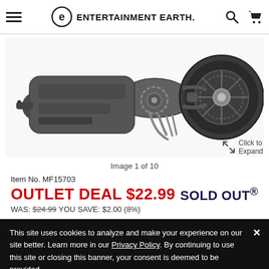Entertainment Earth
[Figure (photo): A dark grey sci-fi motorcycle or bat-pod style vehicle toy/collectible, viewed from the side. The vehicle has large chunky wheels, intricate mechanical details, and a futuristic design. Dark grey/black coloring.]
Image 1 of 10
Item No. MF15703
OUTLET DEAL $22.99   SOLD OUT®
WAS: $24.99 YOU SAVE: $2.00 (8%)
This site uses cookies to analyze and make your experience on our site better. Learn more in our Privacy Policy. By continuing to use this site or closing this banner, your consent is deemed to be provided.